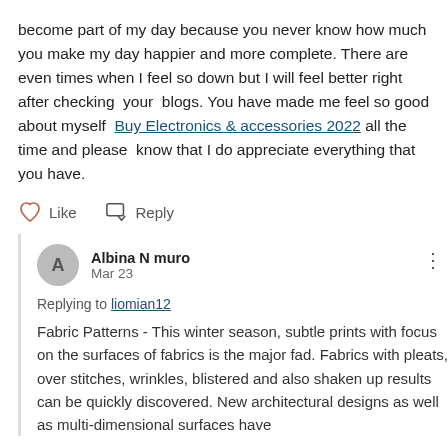become part of my day because you never know how much you make my day happier and more complete. There are even times when I feel so down but I will feel better right after checking  your  blogs. You have made me feel so good about myself  Buy Electronics & accessories 2022 all the time and please  know that I do appreciate everything that you have.
Like   Reply
Albina N muro
Mar 23
Replying to liomian12
Fabric Patterns - This winter season, subtle prints with focus on the surfaces of fabrics is the major fad. Fabrics with pleats, over stitches, wrinkles, blistered and also shaken up results can be quickly discovered. New architectural designs as well as multi-dimensional surfaces have